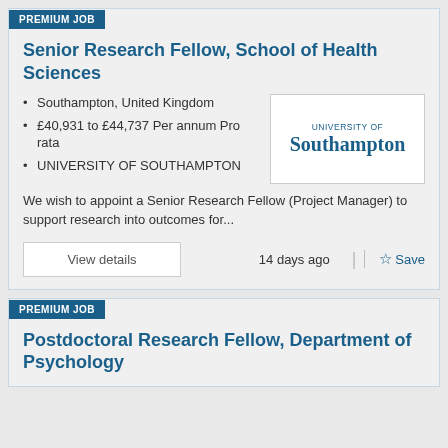PREMIUM JOB
Senior Research Fellow, School of Health Sciences
Southampton, United Kingdom
£40,931 to £44,737 Per annum Pro rata
UNIVERSITY OF SOUTHAMPTON
[Figure (logo): University of Southampton logo with text 'UNIVERSITY OF Southampton']
We wish to appoint a Senior Research Fellow (Project Manager) to support research into outcomes for...
View details
14 days ago
Save
PREMIUM JOB
Postdoctoral Research Fellow, Department of Psychology